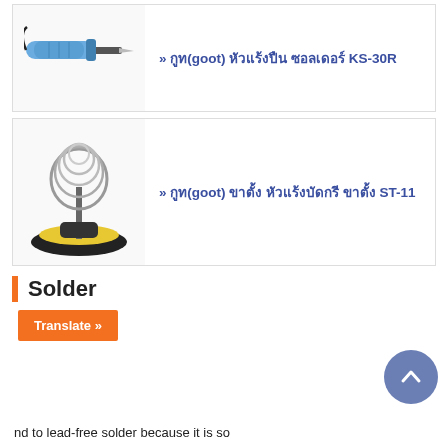[Figure (photo): Photo of a blue-handled soldering iron (goot KS-30R)]
» กูท(goot) หัวแร้งปืน ซอลเดอร์ KS-30R
[Figure (photo): Photo of a soldering iron stand with coiled wire holder and yellow sponge base (goot ST-11)]
» กูท(goot) ขาตั้ง หัวแร้งบัดกรี ขาตั้ง ST-11
Solder
Translate »
nd to lead-free solder because it is so